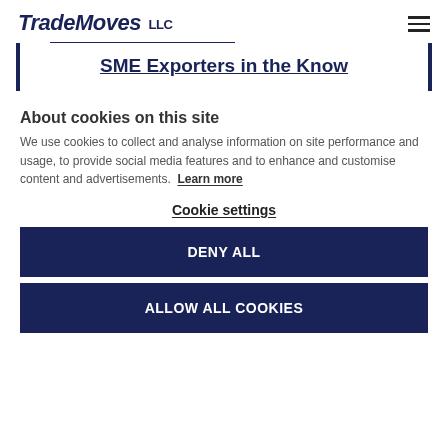TradeMoves LLC
SME Exporters in the Know
About cookies on this site
We use cookies to collect and analyse information on site performance and usage, to provide social media features and to enhance and customise content and advertisements. Learn more
Cookie settings
DENY ALL
ALLOW ALL COOKIES